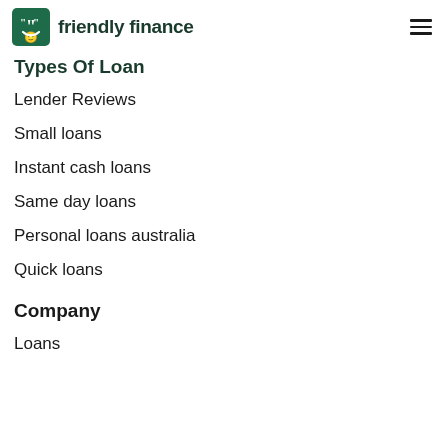friendly finance
Types Of Loan
Lender Reviews
Small loans
Instant cash loans
Same day loans
Personal loans australia
Quick loans
Company
Loans